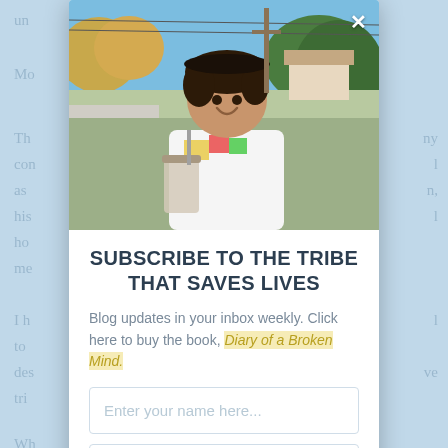un...
Mo...
Th... ny con... l as ... n, his... l ho... me...
I h... l to ... des... ve tri...
Wh...
If s...
[Figure (photo): Young man smiling outdoors holding a drink, wearing a white t-shirt with colorful design, trees and suburban street in background]
SUBSCRIBE TO THE TRIBE THAT SAVES LIVES
Blog updates in your inbox weekly. Click here to buy the book, Diary of a Broken Mind.
Enter your name here...
Enter your email here...